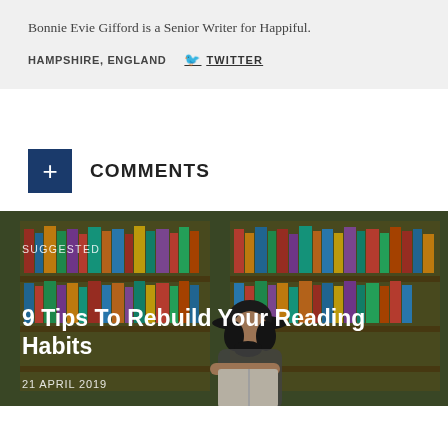Bonnie Evie Gifford is a Senior Writer for Happiful.
HAMPSHIRE, ENGLAND  TWITTER
+ COMMENTS
[Figure (photo): Woman with black hat reading a book in front of bookshelves filled with colourful books. Overlay text: SUGGESTED, 9 Tips To Rebuild Your Reading Habits, 21 APRIL 2019]
SUGGESTED
9 Tips To Rebuild Your Reading Habits
21 APRIL 2019